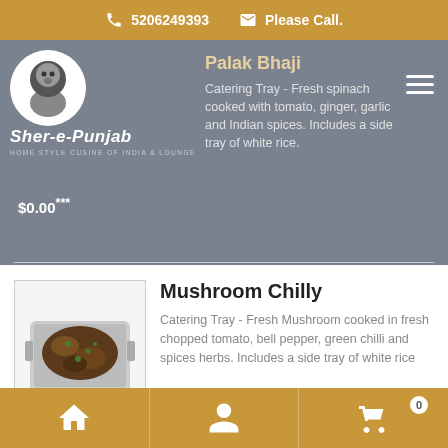5206249393   Please Call.
[Figure (logo): Sher-e-Punjab Home Style Cuisine of India & Lounge logo with lion emblem]
Palak Bhaji
Catering Tray - Fresh spinach cooked with tomato, ginger, garlic and Indian spices. Includes a side tray of white rice.
$0.00***
Mushroom Chilly
Catering Tray - Fresh Mushroom cooked in fresh chopped tomato, bell pepper, green chilli and spices herbs. Includes a side tray of white rice
$0.00
Aloo Matar
Catering Tray - Potatoes and Green Peas cooked with gravy and Indian spices. Includes a side tray of white rice
Home  Profile  Cart 0